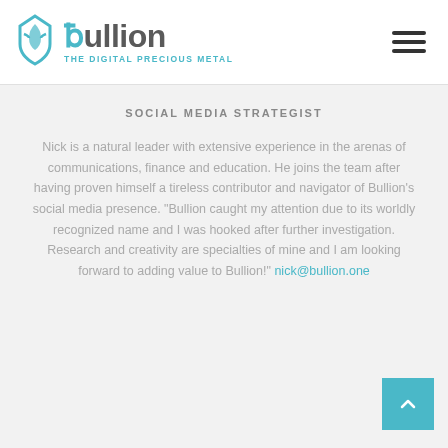[Figure (logo): Bullion logo with teal diamond icon and text 'bullion THE DIGITAL PRECIOUS METAL']
SOCIAL MEDIA STRATEGIST
Nick is a natural leader with extensive experience in the arenas of communications, finance and education. He joins the team after having proven himself a tireless contributor and navigator of Bullion's social media presence. "Bullion caught my attention due to its worldly recognized name and I was hooked after further investigation. Research and creativity are specialties of mine and I am looking forward to adding value to Bullion!" nick@bullion.one